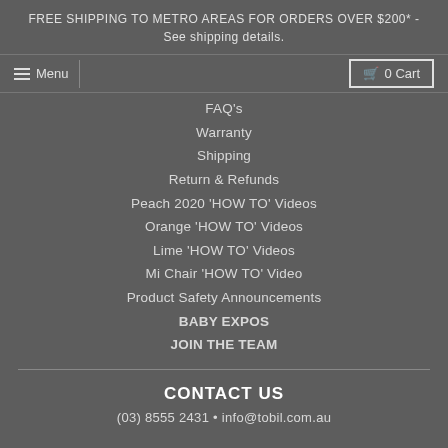FREE SHIPPING TO METRO AREAS FOR ORDERS OVER $200* - See shipping details.
FAQ's
Warranty
Shipping
Return & Refunds
Peach 2020 'HOW TO' Videos
Orange 'HOW TO' Videos
Lime 'HOW TO' Videos
Mi Chair 'HOW TO' Video
Product Safety Announcements
BABY EXPOS
JOIN THE TEAM
CONTACT US
(03) 8555 2431 • info@tobil.com.au